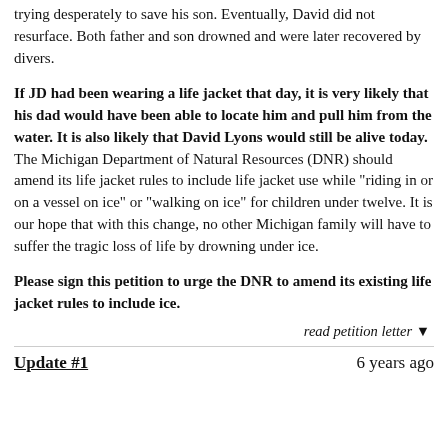trying desperately to save his son. Eventually, David did not resurface. Both father and son drowned and were later recovered by divers.
If JD had been wearing a life jacket that day, it is very likely that his dad would have been able to locate him and pull him from the water. It is also likely that David Lyons would still be alive today. The Michigan Department of Natural Resources (DNR) should amend its life jacket rules to include life jacket use while "riding in or on a vessel on ice" or "walking on ice" for children under twelve. It is our hope that with this change, no other Michigan family will have to suffer the tragic loss of life by drowning under ice.
Please sign this petition to urge the DNR to amend its existing life jacket rules to include ice.
read petition letter ▼
Update #1
6 years ago